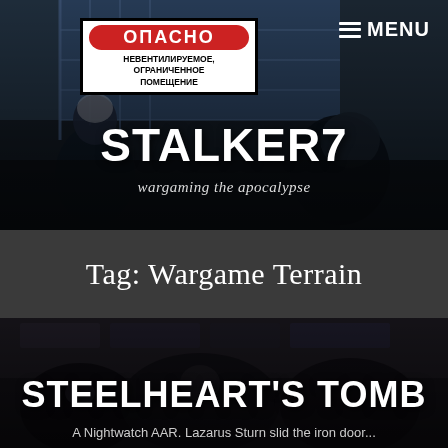[Figure (photo): Website header banner for STALKER7 wargaming blog showing miniature figures with guns in a post-apocalyptic setting, with a Russian ОПАСНО (Danger) warning sign in background showing Cyrillic text НЕВЕНТИЛИРУЕМОЕ, ОГРАНИЧЕННОЕ ПОМЕЩЕНИЕ]
STALKER7
wargaming the apocalypse
≡ MENU
Tag: Wargame Terrain
[Figure (photo): Dark fantasy wargame scene showing undead or zombie miniature figures in a tomb setting with stone walls]
STEELHEART'S TOMB
A Nightwatch AAR. Lazarus Sturn slid the iron door...